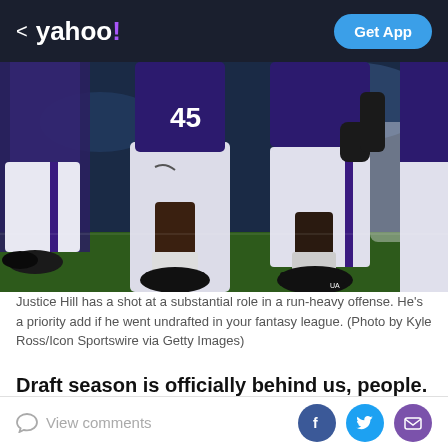< yahoo! | Get App
[Figure (photo): NFL football players running on field, legs and lower bodies visible, wearing purple and white Baltimore Ravens uniforms, night game with stadium lights]
Justice Hill has a shot at a substantial role in a run-heavy offense. He's a priority add if he went undrafted in your fantasy league. (Photo by Kyle Ross/Icon Sportswire via Getty Images)
Draft season is officially behind us, people. Or rather, it's behind most of us. Technically, it's not too late to assemble another squad. Just hit this not-so-subtle
View comments | Facebook | Twitter | Email